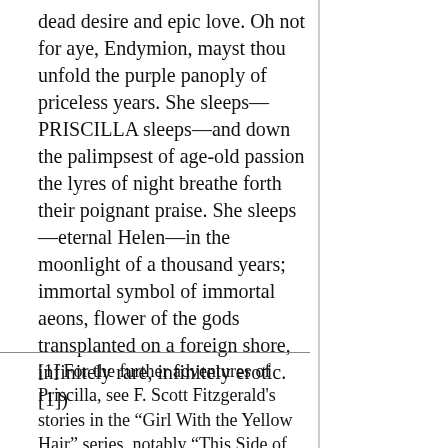dead desire and epic love. Oh not for aye, Endymion, mayst thou unfold the purple panoply of priceless years. She sleeps—PRISCILLA sleeps—and down the palimpsest of age-old passion the lyres of night breathe forth their poignant praise. She sleeps—eternal Helen—in the moonlight of a thousand years; immortal symbol of immortal aeons, flower of the gods transplanted on a foreign shore, infinitely rare, infinitely erotic.[1])
[1] For the further adventures of Priscilla, see F. Scott Fitzgerald's stories in the "Girl With the Yellow Hair" series, notably "This Side of Paradise," "The Offshore...